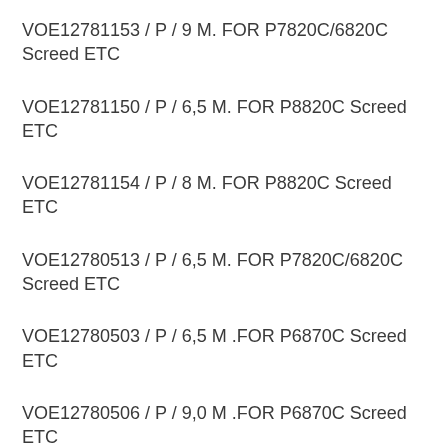VOE12781153 / P / 9 M. FOR P7820C/6820C Screed ETC
VOE12781150 / P / 6,5 M. FOR P8820C Screed ETC
VOE12781154 / P / 8 M. FOR P8820C Screed ETC
VOE12780513 / P / 6,5 M. FOR P7820C/6820C Screed ETC
VOE12780503 / P / 6,5 M .FOR P6870C Screed ETC
VOE12780506 / P / 9,0 M .FOR P6870C Screed ETC
VOE12780505 / P / 8,0 M .FOR P6870C Screed ETC